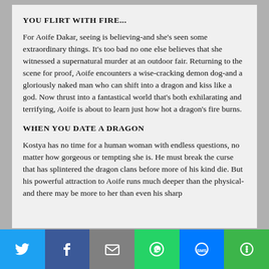YOU FLIRT WITH FIRE...
For Aoife Dakar, seeing is believing-and she's seen some extraordinary things. It's too bad no one else believes that she witnessed a supernatural murder at an outdoor fair. Returning to the scene for proof, Aoife encounters a wise-cracking demon dog-and a gloriously naked man who can shift into a dragon and kiss like a god. Now thrust into a fantastical world that's both exhilarating and terrifying, Aoife is about to learn just how hot a dragon's fire burns.
WHEN YOU DATE A DRAGON
Kostya has no time for a human woman with endless questions, no matter how gorgeous or tempting she is. He must break the curse that has splintered the dragon clans before more of his kind die. But his powerful attraction to Aoife runs much deeper than the physical-and there may be more to her than even his sharp